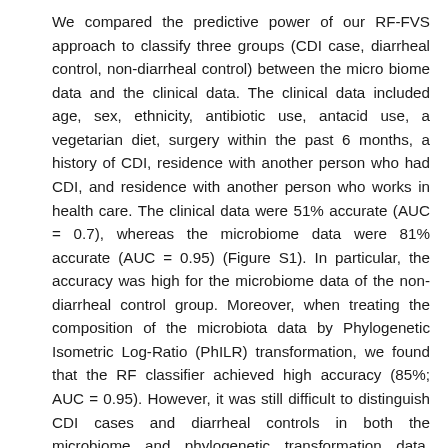We compared the predictive power of our RF-FVS approach to classify three groups (CDI case, diarrheal control, non-diarrheal control) between the micro biome data and the clinical data. The clinical data included age, sex, ethnicity, antibiotic use, antacid use, a vegetarian diet, surgery within the past 6 months, a history of CDI, residence with another person who had CDI, and residence with another person who works in health care. The clinical data were 51% accurate (AUC = 0.7), whereas the microbiome data were 81% accurate (AUC = 0.95) (Figure S1). In particular, the accuracy was high for the microbiome data of the non-diarrheal control group. Moreover, when treating the composition of the microbiota data by Phylogenetic Isometric Log-Ratio (PhILR) transformation, we found that the RF classifier achieved high accuracy (85%; AUC = 0.95). However, it was still difficult to distinguish CDI cases and diarrheal controls in both the microbiome and phylogenetic transformation data. Overall, the accuracy of diagnosis was significantly improved with the RF-FVS approach for the CDI and diarrheal groups for the microbiome data compared with the accuracy with the RF-RI and RF-BR algorithms (Figure 2). By focusing